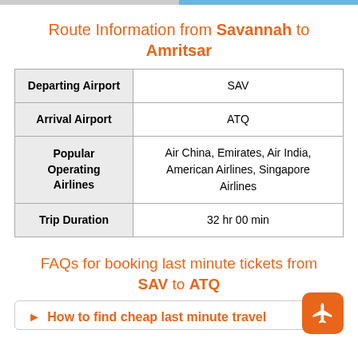Route Information from Savannah to Amritsar
|  |  |
| --- | --- |
| Departing Airport | SAV |
| Arrival Airport | ATQ |
| Popular Operating Airlines | Air China, Emirates, Air India, American Airlines, Singapore Airlines |
| Trip Duration | 32 hr 00 min |
FAQs for booking last minute tickets from SAV to ATQ
How to find cheap last minute travel